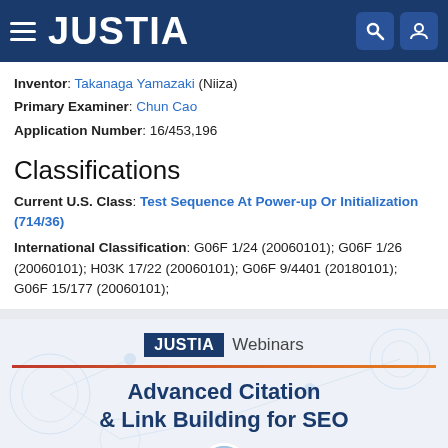JUSTIA
Inventor: Takanaga Yamazaki (Niiza)
Primary Examiner: Chun Cao
Application Number: 16/453,196
Classifications
Current U.S. Class: Test Sequence At Power-up Or Initialization (714/36)
International Classification: G06F 1/24 (20060101); G06F 1/26 (20060101); H03K 17/22 (20060101); G06F 9/4401 (20180101); G06F 15/177 (20060101);
[Figure (infographic): Justia Webinars promotional banner for 'Advanced Citation & Link Building for SEO' with Justia logo badge, orange divider line, and a speaker avatar circle at the bottom.]